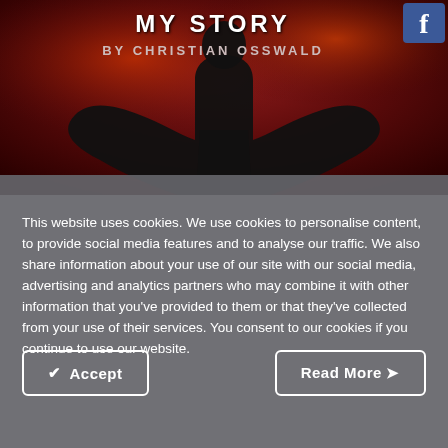[Figure (illustration): Website banner with dark red background showing a silhouette of a person with arms raised, title 'MY STORY' in white text and 'BY CHRISTIAN OSSWALD' below it, with a Facebook button in the top right corner]
This website uses cookies. We use cookies to personalise content, to provide social media features and to analyse our traffic. We also share information about your use of our site with our social media, advertising and analytics partners who may combine it with other information that you've provided to them or that they've collected from your use of their services. You consent to our cookies if you continue to use our website.
Accept
Read More